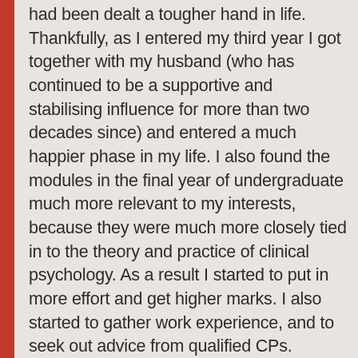had been dealt a tougher hand in life. Thankfully, as I entered my third year I got together with my husband (who has continued to be a supportive and stabilising influence for more than two decades since) and entered a much happier phase in my life. I also found the modules in the final year of undergraduate much more relevant to my interests, because they were much more closely tied in to the theory and practice of clinical psychology. As a result I started to put in more effort and get higher marks. I also started to gather work experience, and to seek out advice from qualified CPs. Gradually, those efforts paid dividends – I secured an AP post on a research project straight after graduating** and then worked incredibly hard to do that job, write up papers for publication and complete a masters